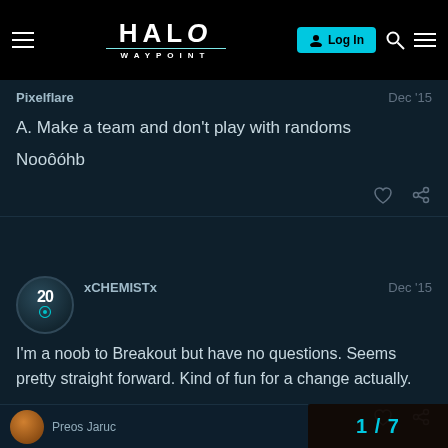Halo Waypoint — Log In
Pixelflare    Dec '15
A. Make a team and don't play with randoms

Nooôóhb
xCHEMISTx    Dec '15
I'm a noob to Breakout but have no questions. Seems pretty straight forward. Kind of fun for a change actually.